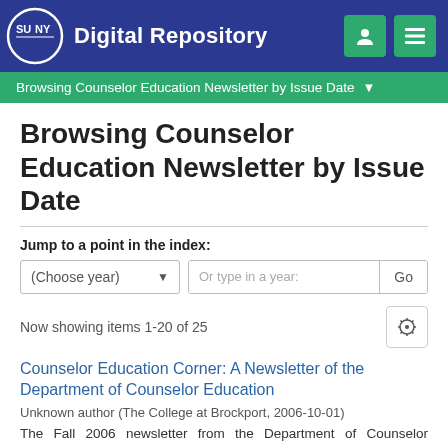SUNY Digital Repository
Browsing Counselor Education Newsletter by Issue Date
Browsing Counselor Education Newsletter by Issue Date
Jump to a point in the index:
Now showing items 1-20 of 25
Counselor Education Corner: A Newsletter of the Department of Counselor Education
Unknown author (The College at Brockport, 2006-10-01)
The Fall 2006 newsletter from the Department of Counselor Education shares news about the program and the profession, as